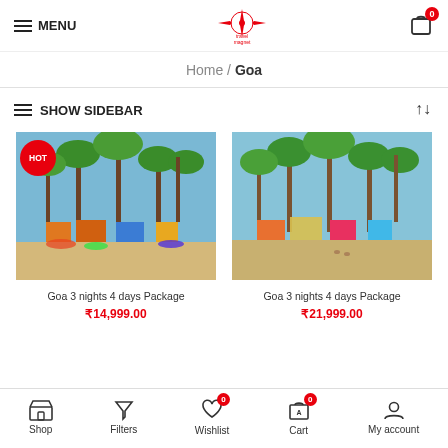MENU | travel magnet | Cart 0
Home / Goa
SHOW SIDEBAR
[Figure (photo): Goa beach photo with palm trees and colorful beach huts, labeled HOT]
Goa 3 nights 4 days Package
₹14,999.00
[Figure (photo): Goa beach photo with palm trees, sandy beach and colorful huts in background]
Goa 3 nights 4 days Package
₹21,999.00
Shop | Filters | Wishlist 0 | Cart 0 | My account